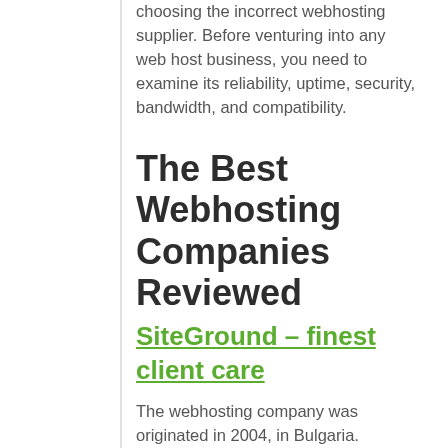choosing the incorrect webhosting supplier. Before venturing into any web host business, you need to examine its reliability, uptime, security, bandwidth, and compatibility.
The Best Webhosting Companies Reviewed
SiteGround – finest client care
The webhosting company was originated in 2004, in Bulgaria. Currently, the